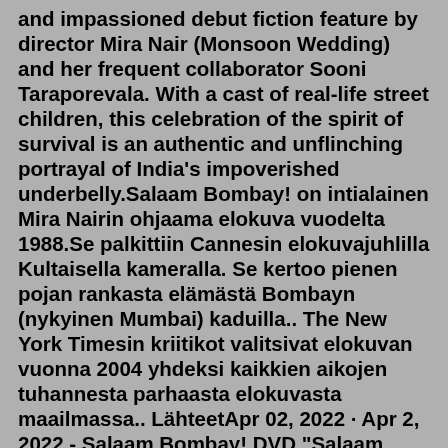and impassioned debut fiction feature by director Mira Nair (Monsoon Wedding) and her frequent collaborator Sooni Taraporevala. With a cast of real-life street children, this celebration of the spirit of survival is an authentic and unflinching portrayal of India's impoverished underbelly.Salaam Bombay! on intialainen Mira Nairin ohjaama elokuva vuodelta 1988.Se palkittiin Cannesin elokuvajuhlilla Kultaisella kameralla. Se kertoo pienen pojan rankasta elämästä Bombayn (nykyinen Mumbai) kaduilla.. The New York Timesin kriitikot valitsivat elokuvan vuonna 2004 yhdeksi kaikkien aikojen tuhannesta parhaasta elokuvasta maailmassa.. LähteetApr 02, 2022 · Apr 2, 2022 - Salaam Bombay! DVD "Salaam Bombay!" is certainly an ideal film to watch after seeing some of Satyajit Ray's films. So in conclusion, this is a gritty, thoughtful, powerful, well made film; my admiration for world cinema continues. ... IMDb Movies, TV & Celebrities: Kindle Direct Publishing Indie Digital & Print Publishing Made Easy: Shopbop Designer Fashion ... Mira Nair